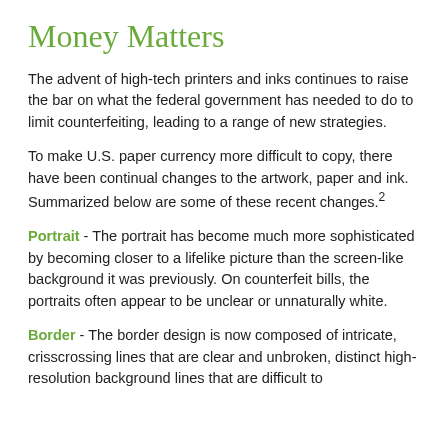Money Matters
The advent of high-tech printers and inks continues to raise the bar on what the federal government has needed to do to limit counterfeiting, leading to a range of new strategies.
To make U.S. paper currency more difficult to copy, there have been continual changes to the artwork, paper and ink. Summarized below are some of these recent changes.2
Portrait - The portrait has become much more sophisticated by becoming closer to a lifelike picture than the screen-like background it was previously. On counterfeit bills, the portraits often appear to be unclear or unnaturally white.
Border - The border design is now composed of intricate, crisscrossing lines that are clear and unbroken, distinct high-resolution background lines that are difficult to